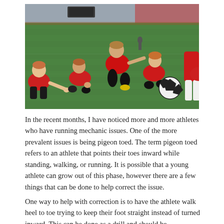[Figure (photo): Young youth soccer players in red jerseys sitting on green grass field in a circle or huddle, with a soccer ball visible, appearing to listen to a coach or teammate. Stadium seating visible in background.]
In the recent months, I have noticed more and more athletes who have running mechanic issues. One of the more prevalent issues is being pigeon toed. The term pigeon toed refers to an athlete that points their toes inward while standing, walking, or running. It is possible that a young athlete can grow out of this phase, however there are a few things that can be done to help correct the issue.
One way to help with correction is to have the athlete walk heel to toe trying to keep their foot straight instead of turned inward. This can be done as a drill and should be